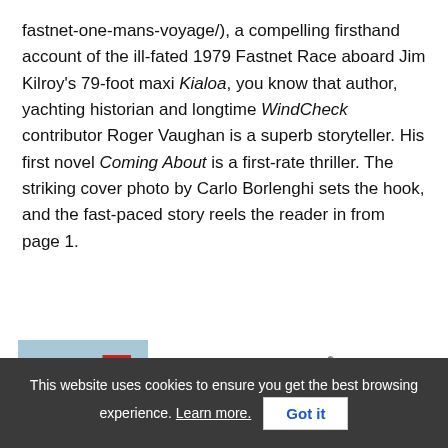fastnet-one-mans-voyage/), a compelling firsthand account of the ill-fated 1979 Fastnet Race aboard Jim Kilroy's 79-foot maxi Kialoa, you know that author, yachting historian and longtime WindCheck contributor Roger Vaughan is a superb storyteller. His first novel Coming About is a first-rate thriller. The striking cover photo by Carlo Borlenghi sets the hook, and the fast-paced story reels the reader in from page 1.
[Figure (photo): Photo of John Bainton standing on a boat with an American flag, water in background]
John Bainton
Sailor | Realtor® | Waterfront Specialist
Four Point Group at Compass
M 203.249.5932
This website uses cookies to ensure you get the best browsing experience. Learn more.